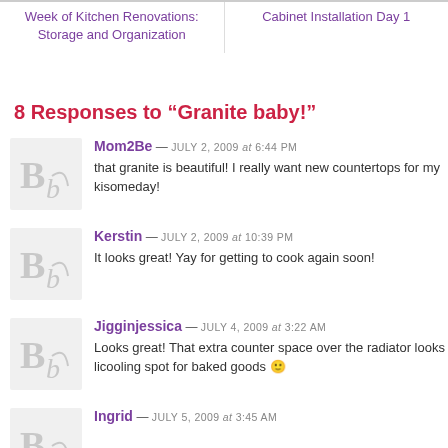Week of Kitchen Renovations: Storage and Organization
Cabinet Installation Day 1
8 Responses to “Granite baby!”
Mom2Be — JULY 2, 2009 at 6:44 PM
that granite is beautiful! I really want new countertops for my ki... someday!
Kerstin — JULY 2, 2009 at 10:39 PM
It looks great! Yay for getting to cook again soon!
Jigginjessica — JULY 4, 2009 at 3:22 AM
Looks great! That extra counter space over the radiator looks li... cooling spot for baked goods 🙂
Ingrid — JULY 5, 2009 at ...